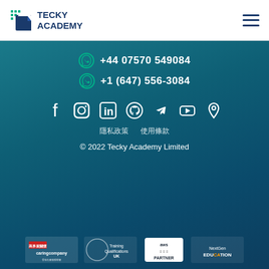[Figure (logo): Tecky Academy logo with grid icon and text]
+44 07570 549084
+1 (647) 556-3084
[Figure (infographic): Social media icons: Facebook, Instagram, LinkedIn, GitHub, Telegram, YouTube, Location pin]
隱私政策    使用條款
© 2022 Tecky Academy Limited
[Figure (logo): Partner logos: Caring Company, Training Qualifications UK, AWS Partner, NextGen Education Change]